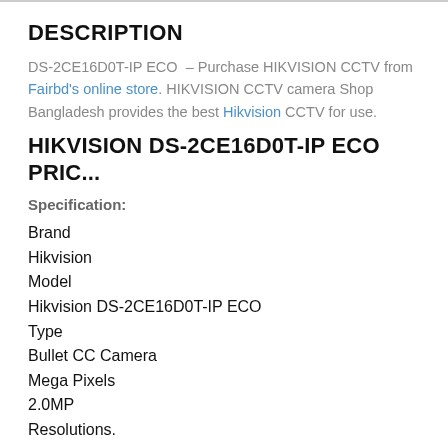DESCRIPTION
DS-2CE16D0T-IP ECO – Purchase HIKVISION CCTV from Fairbd's online store. HIKVISION CCTV camera Shop Bangladesh provides the best Hikvision CCTV for use.
HIKVISION DS-2CE16D0T-IP ECO PRIC...
Specification:
Brand
Hikvision
Model
Hikvision DS-2CE16D0T-IP ECO
Type
Bullet CC Camera
Mega Pixels
2.0MP
Resolutions.